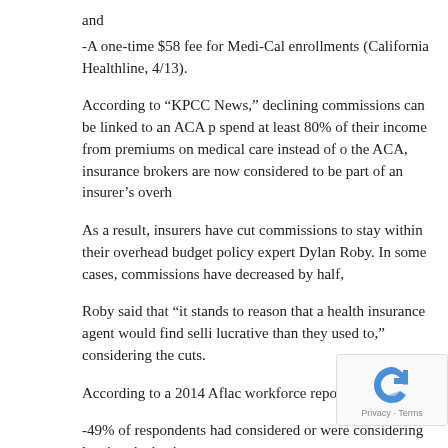and
-A one-time $58 fee for Medi-Cal enrollments (California Healthline, 4/13).
According to “KPCC News,” declining commissions can be linked to an ACA provision that requires insurers to spend at least 80% of their income from premiums on medical care instead of overhead costs. Under the ACA, insurance brokers are now considered to be part of an insurer’s overhead.
As a result, insurers have cut commissions to stay within their overhead budgets, according to health policy expert Dylan Roby. In some cases, commissions have decreased by half,
Roby said that “it stands to reason that a health insurance agent would find selling insurance less lucrative than they used to,” considering the cuts.
According to a 2014 Aflac workforce report:
-49% of respondents had considered or were considering leaving the business; a
-67% said “many of their peers” had left the industry in the last year.
Meanwhile, larger brokerage firms have started laying off employ… “KPCC News.”
Implications